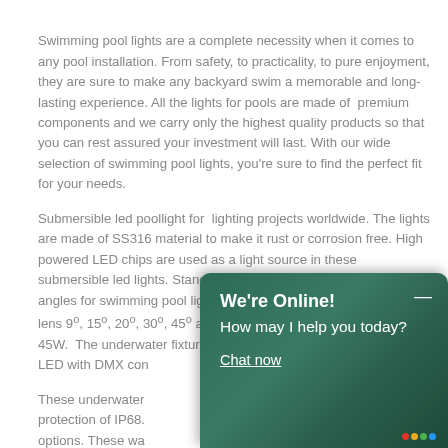Swimming pool lights are a complete necessity when it comes to any pool installation. From safety, to practicality, to pure enjoyment, they are sure to make any backyard swim a memorable and long-lasting experience. All the lights for pools are made of  premium components and we carry only the highest quality products so that you can rest assured your investment will last. With our wide selection of swimming pool lights, you're sure to find the perfect fit for your needs.
Submersible led poollight for  lighting projects worldwide. The lights are made of SS316 material to make it rust or corrosion free. High powered LED chips are used as a light source in these submersible led lights. Standard color temperature and beam angles for swimming pool lights are 2000K, 3000K and 6000K with lens 9°, 15°, 20°, 30°, 45° and 60°. Wattages start 2W upwards to 45W.  The underwater fixtures can also be LED with DMX con[tinuous text cut off by overlay]
These underwater [text cut off] protection of IP68. options. These wa[tts text cut off] attractive and help in achieving multi-color ambient light...
[Figure (other): Chat widget overlay with dark green gradient background showing 'We're Online! How may I help you today?' with a 'Chat now' underlined link and a minimize button (dash) in top right corner, and colored brand dots (red, yellow, green, blue) in bottom right.]